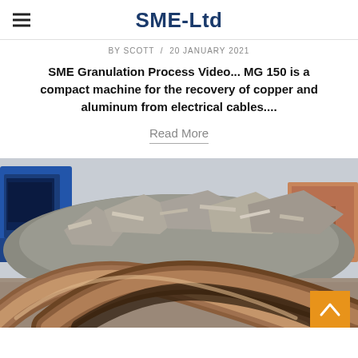SME-Ltd
BY SCOTT / 20 JANUARY 2021
SME Granulation Process Video... MG 150 is a compact machine for the recovery of copper and aluminum from electrical cables....
Read More
[Figure (photo): Scrap metal yard showing a large pile of shredded metal debris and machinery in the background, with curved copper/metal pieces in the foreground. An orange back-to-top button is visible in the bottom right.]